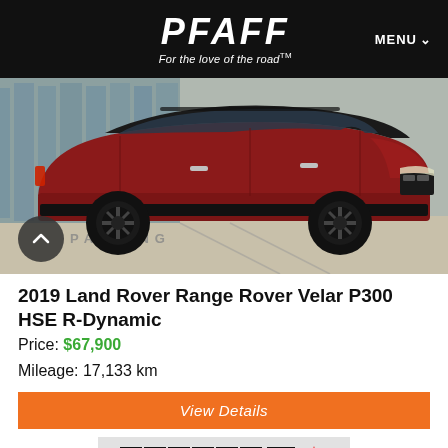PFAFF — For the love of the road™
[Figure (photo): Side view of a red 2019 Land Rover Range Rover Velar P300 HSE R-Dynamic SUV parked in a lot, black wheels, parking lot background]
2019 Land Rover Range Rover Velar P300 HSE R-Dynamic
Price: $67,900
Mileage: 17,133 km
View Details
[Figure (logo): CARFAX Canada logo with maple leaf]